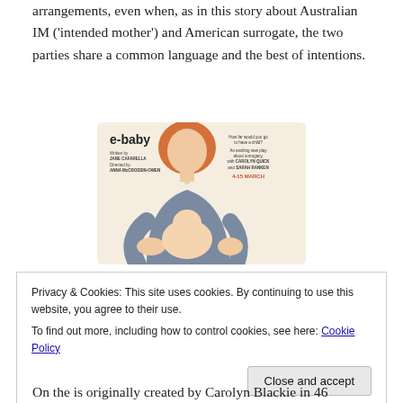arrangements, even when, as in this story about Australian IM ('intended mother') and American surrogate, the two parties share a common language and the best of intentions.
[Figure (illustration): Poster for the play 'e-baby'. Shows an illustration of a woman with red hair and a grey top holding a baby. Text reads: 'e-baby. Written by Jane Cafarella. Directed by Anna McCrossin-Owen. How far would you go to have a child? An exciting new play about surrogacy, with Carolyn Quick and Sarah Ranken. 4-15 March']
Privacy & Cookies: This site uses cookies. By continuing to use this website, you agree to their use.
To find out more, including how to control cookies, see here: Cookie Policy
Close and accept
On the is originally created by Carolyn Blackie in 46